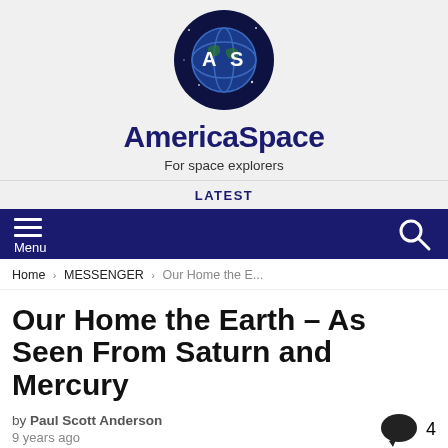[Figure (logo): AmericaSpace circular logo with globe and letters A and S on dark navy background]
AmericaSpace
For space explorers
LATEST
[Figure (other): Navy navigation bar with hamburger menu icon and Menu label on left, search icon on right]
Home › MESSENGER › Our Home the E...
Our Home the Earth – As Seen From Saturn and Mercury
by Paul Scott Anderson
9 years ago
[Figure (photo): Bottom image strip showing a dark golden space scene, partial view]